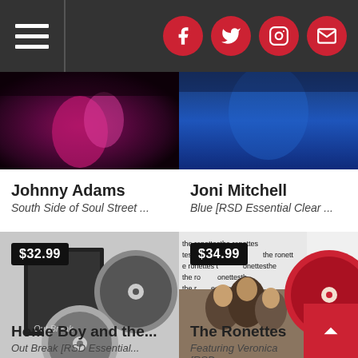Navigation bar with hamburger menu and social icons (Facebook, Twitter, Instagram, Email)
[Figure (photo): Cropped album art for Johnny Adams - dark purple/magenta concert photo]
[Figure (photo): Cropped album art for Joni Mitchell - Blue album, blue toned photo]
Johnny Adams
South Side of Soul Street ...
Joni Mitchell
Blue [RSD Essential Clear ...
[Figure (photo): Album art for Home Boy and the... - Out Break RSD Essential, black and white vinyl record image, price badge $32.99]
[Figure (photo): Album art for The Ronettes - Featuring Veronica RSD, group photo with red vinyl, price badge $34.99]
Home Boy and the...
Out Break [RSD Essential...
The Ronettes
Featuring Veronica [RSD...